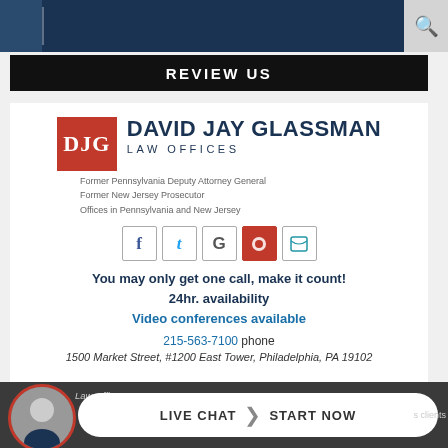Navigation bar with search icon
REVIEW US
[Figure (logo): David Jay Glassman Law Offices logo with DJG red box and firm name, social media icons (Facebook, Twitter, Google, Avvo, Yelp)]
Former Pennsylvania Deputy Attorney General
Former New Jersey Prosecutor
Offices in Pennsylvania and New Jersey
You may only get one call, make it count!
24hr. availability
Video conferences available
215-563-7100 phone
1500 Market Street, #1200 East Tower, Philadelphia, PA 19102
Law Offices of David Jay ... clients   LIVE CHAT  START NOW